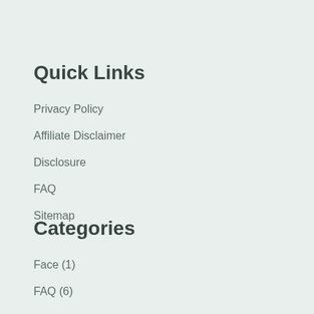Quick Links
Privacy Policy
Affiliate Disclaimer
Disclosure
FAQ
Sitemap
Categories
Face (1)
FAQ (6)